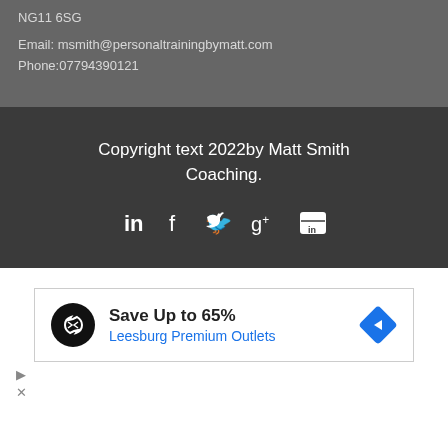NG11 6SG
Email: msmith@personaltrainingbymatt.com
Phone:07794390121
Copyright text 2022by Matt Smith Coaching.
[Figure (infographic): Social media icons: LinkedIn, Facebook, Twitter, Google+, and another icon displayed in a row]
[Figure (infographic): Advertisement box with a black circle logo with double arrow symbol, text 'Save Up to 65%' and 'Leesburg Premium Outlets' in blue, a blue diamond arrow icon on the right, and play/close controls below]